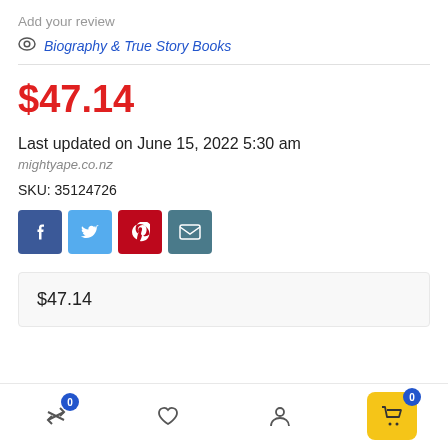Add your review
Biography & True Story Books
$47.14
Last updated on June 15, 2022 5:30 am
mightyape.co.nz
SKU: 35124726
[Figure (infographic): Social share buttons: Facebook (blue), Twitter (light blue), Pinterest (red), Email (teal)]
$47.14
Bottom navigation bar with compare (badge 0), wishlist, account, and cart (badge 0) icons